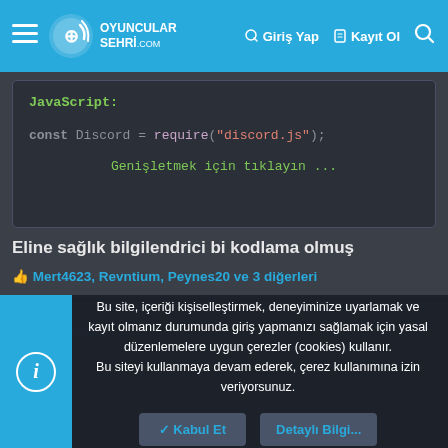Oyuncular Sehri .com — Giriş Yap — Kayıt Ol — Search
[Figure (screenshot): Code block showing JavaScript label and code: const Discord = require("discord.js"); with expand link 'Genişletmek için tıklayın ...']
Eline sağlık bilgilendrici bi kodlama olmuş
👍 Mert4623, Revntium, Peynes20 ve 3 diğerleri
Bynix
Bu site, içeriği kişiselleştirmek, deneyiminize uyarlamak ve kayıt olmanız durumunda giriş yapmanızı sağlamak için yasal düzenlemelere uygun çerezler (cookies) kullanır. Bu siteyi kullanmaya devam ederek, çerez kullanımına izin veriyorsunuz.
✓ Kabul Et
Detaylı Bilgi...